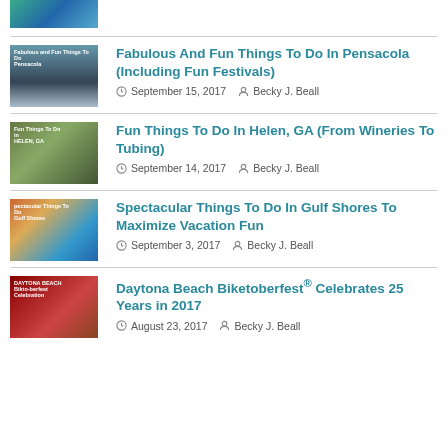[Figure (photo): Partial thumbnail image visible at top of page]
[Figure (photo): Thumbnail for Fabulous And Fun Things To Do In Pensacola article]
Fabulous And Fun Things To Do In Pensacola (Including Fun Festivals)
September 15, 2017   Becky J. Beall
[Figure (photo): Thumbnail for Fun Things To Do In Helen, GA article]
Fun Things To Do In Helen, GA (From Wineries To Tubing)
September 14, 2017   Becky J. Beall
[Figure (photo): Thumbnail for Spectacular Things To Do In Gulf Shores article]
Spectacular Things To Do In Gulf Shores To Maximize Vacation Fun
September 3, 2017   Becky J. Beall
[Figure (photo): Thumbnail for Daytona Beach Biketoberfest article]
Daytona Beach Biketoberfest® Celebrates 25 Years in 2017
August 23, 2017   Becky J. Beall